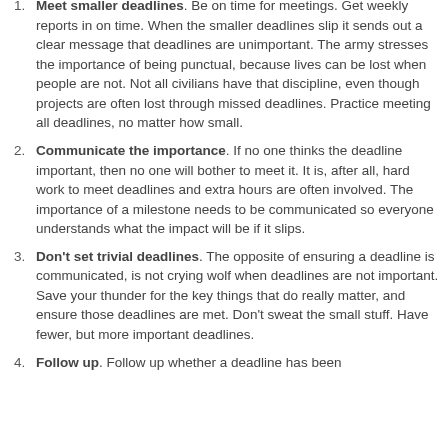Meet smaller deadlines. Be on time for meetings. Get weekly reports in on time. When the smaller deadlines slip it sends out a clear message that deadlines are unimportant. The army stresses the importance of being punctual, because lives can be lost when people are not. Not all civilians have that discipline, even though projects are often lost through missed deadlines. Practice meeting all deadlines, no matter how small.
Communicate the importance. If no one thinks the deadline important, then no one will bother to meet it. It is, after all, hard work to meet deadlines and extra hours are often involved. The importance of a milestone needs to be communicated so everyone understands what the impact will be if it slips.
Don't set trivial deadlines. The opposite of ensuring a deadline is communicated, is not crying wolf when deadlines are not important. Save your thunder for the key things that do really matter, and ensure those deadlines are met. Don't sweat the small stuff. Have fewer, but more important deadlines.
Follow up. Follow up whether a deadline has been